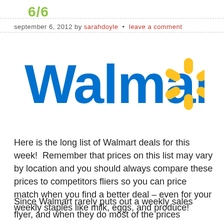6/6
september 6, 2012 by sarahdoyle • leave a comment
[Figure (logo): Walmart logo with blue bold text 'Walmart' and golden spark/asterisk symbol to the right]
Here is the long list of Walmart deals for this week!  Remember that prices on this list may vary by location and you should always compare these prices to competitors fliers so you can price match when you find a better deal – even for your weekly staples like milk, eggs, and produce!
Since Walmart rarely puts out a weekly sales flyer, and when they do most of the prices advertised are their regular "Everyday Low Prices," the match-ups on this list